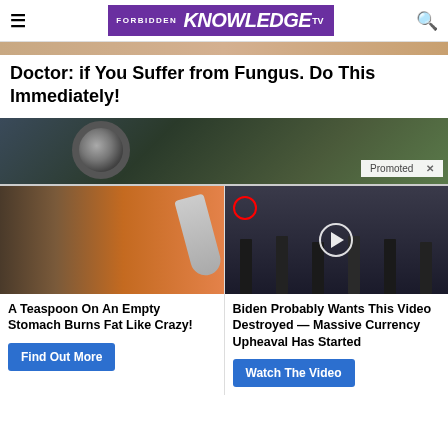Forbidden Knowledge TV
[Figure (photo): Partial view of a human body, top image strip]
Doctor: if You Suffer from Fungus. Do This Immediately!
[Figure (photo): Close-up of a mechanical gear/bearing with green foliage background. Promoted badge with X in bottom right.]
[Figure (photo): Left ad: woman with abs and spices/cinnamon on a spoon]
A Teaspoon On An Empty Stomach Burns Fat Like Crazy!
Find Out More
[Figure (photo): Right ad: group of people in suits at CIA headquarters, video play button overlay, red circle around a person]
Biden Probably Wants This Video Destroyed — Massive Currency Upheaval Has Started
Watch The Video